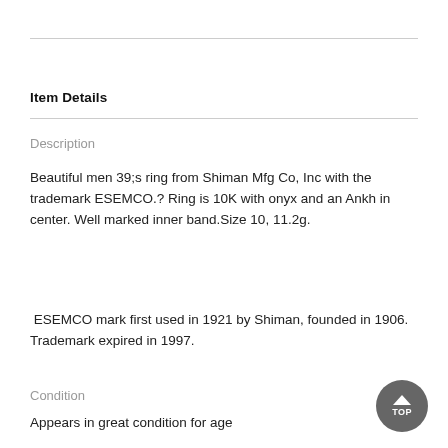Item Details
Description
Beautiful men 39;s ring from Shiman Mfg Co, Inc with the trademark ESEMCO.? Ring is 10K with onyx and an Ankh in center. Well marked inner band.Size 10, 11.2g.
ESEMCO mark first used in 1921 by Shiman, founded in 1906. Trademark expired in 1997.
Condition
Appears in great condition for age